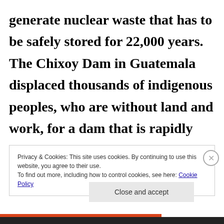generate nuclear waste that has to be safely stored for 22,000 years. The Chixoy Dam in Guatemala displaced thousands of indigenous peoples, who are without land and work, for a dam that is rapidly silting up and becoming useless. Military
Privacy & Cookies: This site uses cookies. By continuing to use this website, you agree to their use. To find out more, including how to control cookies, see here: Cookie Policy
Close and accept